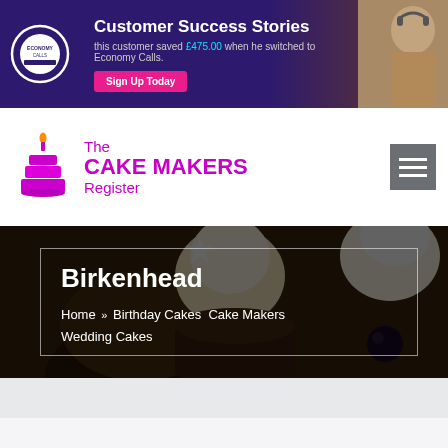[Figure (screenshot): Banner advertisement for Economy Calls with purple background, logo, headline 'Customer Success Stories', subtitle text, Sign Up Today button, and photo of person on right]
[Figure (logo): The Cake Makers Register logo with pink/magenta cake icon and text]
Birkenhead
Home » Birthday Cakes Cake Makers Wedding Cakes
[Figure (photo): Hero background photo of chocolate cupcakes with cream topping and blueberries]